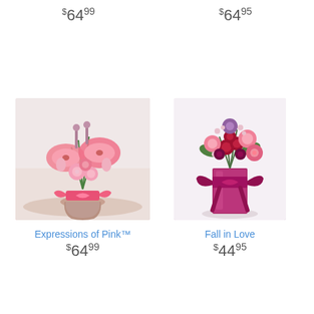$64 99
$64 95
[Figure (photo): Pink lily and rose arrangement in a glass vase with a pink ribbon bow - Expressions of Pink]
[Figure (photo): Mixed burgundy and pink flower bouquet in a tall purple vase with large magenta ribbon - Fall in Love]
Expressions of Pink™
$64 99
Fall in Love
$44 95